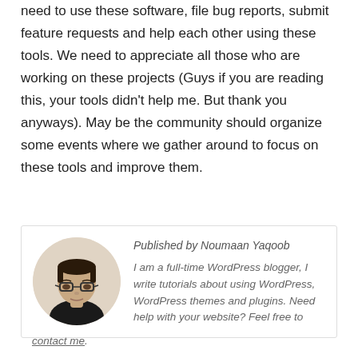to do is to concentrate more on improving them. We need to use these software, file bug reports, submit feature requests and help each other using these tools. We need to appreciate all those who are working on these projects (Guys if you are reading this, your tools didn't help me. But thank you anyways). May be the community should organize some events where we gather around to focus on these tools and improve them.
[Figure (photo): Circular avatar photo of Noumaan Yaqoob, a man with glasses wearing a dark shirt, against a light background.]
Published by Noumaan Yaqoob
I am a full-time WordPress blogger, I write tutorials about using WordPress, WordPress themes and plugins. Need help with your website? Feel free to contact me.